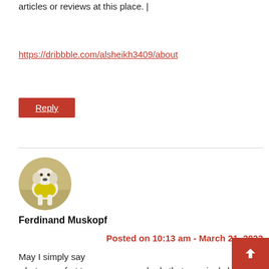articles or reviews at this place. |
https://dribbble.com/alsheikh3409/about
Reply
[Figure (photo): Circular avatar photo of a dog wearing a yellow vest, sitting on a tiled floor.]
Ferdinand Muskopf
Posted on 10:13 am - March 21, 2022
May I simply say what a comfort to uncover somebody that genuinely knows what they’re discussing over the internet. You certainly know how to bring a problem to light and make it important. More and more people ought to check this out and understand this side of the story. I was surprised you are not more popular because you definitely have t